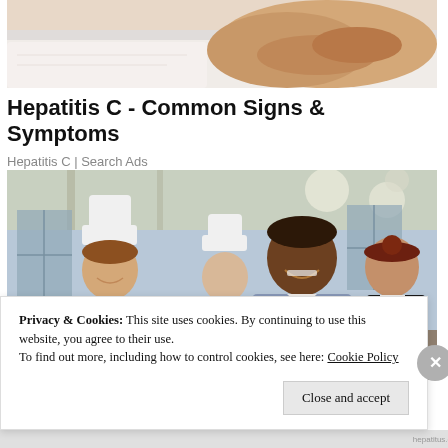[Figure (photo): Partial view of a person's torso/midsection, cropped, light-colored background]
Hepatitis C - Common Signs & Symptoms
Hepatitis C | Search Ads
[Figure (photo): Group of restaurant staff including two chefs in white uniforms and hats, a manager in a blue shirt with tie holding a tablet, and a female staff member in a dark vest, posing together smiling in a restaurant setting]
Privacy & Cookies: This site uses cookies. By continuing to use this website, you agree to their use.
To find out more, including how to control cookies, see here: Cookie Policy
Close and accept